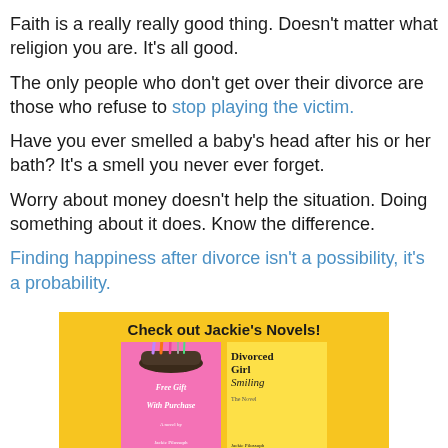Faith is a really really good thing. Doesn't matter what religion you are. It's all good.
The only people who don't get over their divorce are those who refuse to stop playing the victim.
Have you ever smelled a baby's head after his or her bath? It's a smell you never ever forget.
Worry about money doesn't help the situation. Doing something about it does. Know the difference.
Finding happiness after divorce isn't a possibility, it's a probability.
[Figure (illustration): Advertisement banner with yellow background showing two book covers: 'Free Gift With Purchase' (pink cover with makeup brushes) and 'Divorced Girl Smiling: The Novel' (yellow cover). Text at top reads 'Check out Jackie's Novels!']